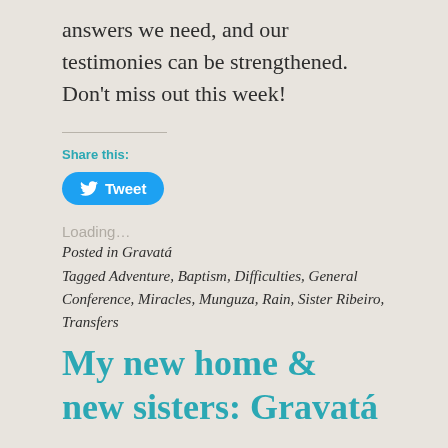answers we need, and our testimonies can be strengthened. Don't miss out this week!
Share this:
[Figure (other): Tweet button with Twitter bird logo]
Loading…
Posted in Gravatá
Tagged Adventure, Baptism, Difficulties, General Conference, Miracles, Munguza, Rain, Sister Ribeiro, Transfers
My new home & new sisters: Gravatá